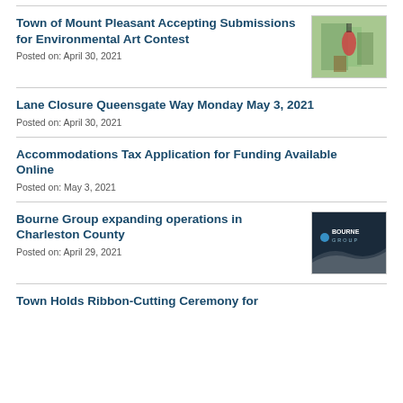Town of Mount Pleasant Accepting Submissions for Environmental Art Contest
Posted on: April 30, 2021
[Figure (photo): Photo of a person at what appears to be an outdoor event or contest display]
Lane Closure Queensgate Way Monday May 3, 2021
Posted on: April 30, 2021
Accommodations Tax Application for Funding Available Online
Posted on: May 3, 2021
Bourne Group expanding operations in Charleston County
Posted on: April 29, 2021
[Figure (logo): Bourne Group logo on dark navy background with white wave design]
Town Holds Ribbon-Cutting Ceremony for